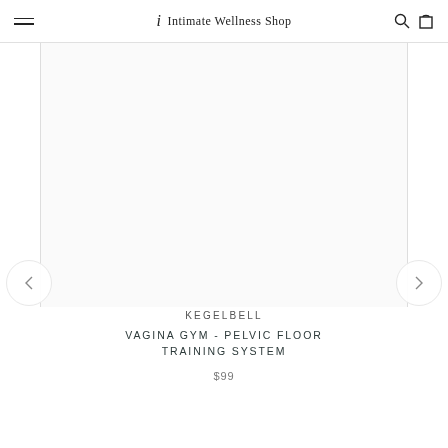Intimate Wellness Shop
[Figure (photo): Product image area for Kegelbell - Vagina Gym pelvic floor training system, white background with navigation arrows on left and right]
KEGELBELL
VAGINA GYM - PELVIC FLOOR TRAINING SYSTEM
$99